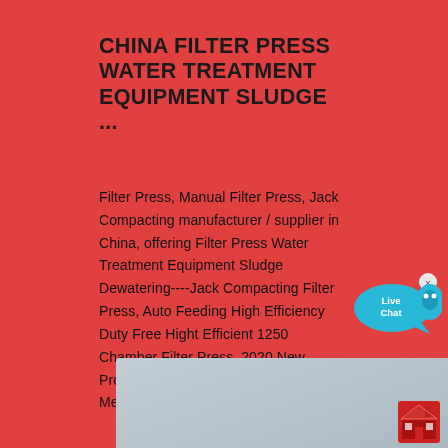CHINA FILTER PRESS WATER TREATMENT EQUIPMENT SLUDGE ...
Filter Press, Manual Filter Press, Jack Compacting manufacturer / supplier in China, offering Filter Press Water Treatment Equipment Sludge Dewatering----Jack Compacting Filter Press, Auto Feeding High Efficiency Duty Free Hight Efficient 1250 Chamber Filter Press, 2020 New Product Program Controlled Auto1500 Membrane Filter Press and so on.
contact us
[Figure (photo): Industrial filter press / water treatment equipment machinery photographed outdoors against a light sky, showing dark metallic industrial equipment structures.]
[Figure (illustration): Live Chat speech bubble icon in cyan/blue color with 'Live Chat' text and a small x close button.]
[Figure (logo): Red house/home icon in the bottom right corner.]